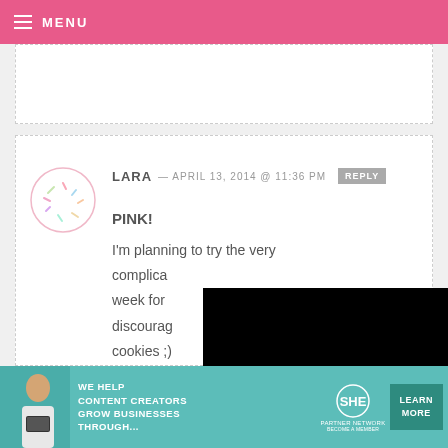MENU
LARA — APRIL 13, 2014 @ 11:36 PM REPLY
PINK!
I'm planning to try the very complicated week for discouraged cookies ;)
[Figure (screenshot): Black video player overlay with white play button triangle]
[Figure (infographic): SHE Partner Network advertisement banner in teal: WE HELP CONTENT CREATORS GROW BUSINESSES THROUGH... LEARN MORE]